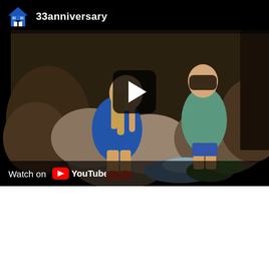[Figure (screenshot): YouTube video thumbnail showing two girls near rocks and a waterfall in an outdoor nature setting. The video player shows a channel icon (blue house icon) with the channel name '33anniversary', a play button overlay in the center, and a 'Watch on YouTube' bar at the bottom.]